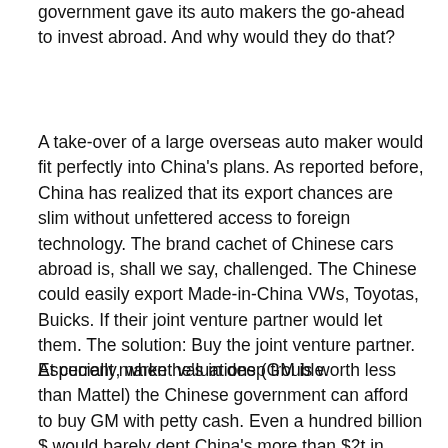government gave its auto makers the go-ahead to invest abroad. And why would they do that?
A take-over of a large overseas auto maker would fit perfectly into China's plans. As reported before, China has realized that its export chances are slim without unfettered access to foreign technology. The brand cachet of Chinese cars abroad is, shall we say, challenged. The Chinese could easily export Made-in-China VWs, Toyotas, Buicks. If their joint venture partner would let them. The solution: Buy the joint venture partner. Especially, when he's in deep trouble.
At current market valuations (GM is worth less than Mattel) the Chinese government can afford to buy GM with petty cash. Even a hundred billion $ would barely dent China's more than $2t in currency reserves. For nobody in